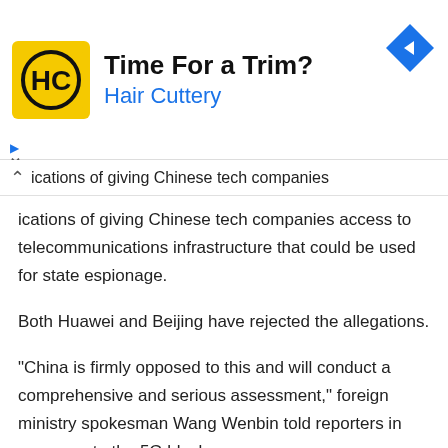[Figure (infographic): Advertisement banner for Hair Cuttery salon. Yellow square logo with HC monogram, text 'Time For a Trim?' in bold black and 'Hair Cuttery' in blue. Blue diamond navigation icon in top right.]
ications of giving Chinese tech companies access to telecommunications infrastructure that could be used for state espionage.
Both Huawei and Beijing have rejected the allegations.
“China is firmly opposed to this and will conduct a comprehensive and serious assessment,” foreign ministry spokesman Wang Wenbin told reporters in response to the 5G block.